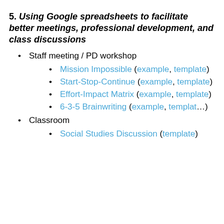5. Using Google spreadsheets to facilitate better meetings, professional development, and class discussions
Staff meeting / PD workshop
Mission Impossible (example, template)
Start-Stop-Continue (example, template)
Effort-Impact Matrix (example, template)
6-3-5 Brainwriting (example, template)
Classroom
Social Studies Discussion (template)